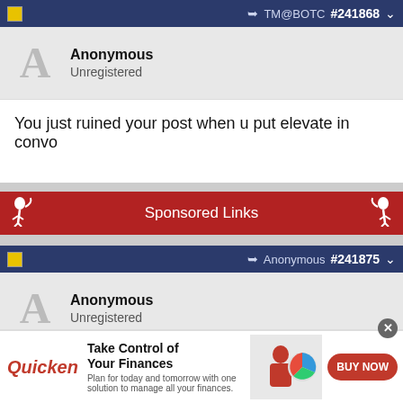TM@BOTC #241868
Anonymous
Unregistered
You just ruined your post when u put elevate in convo
Sponsored Links
Anonymous #241875
Anonymous
Unregistered
Originally Posted by Anonymous
Originally Posted by Anonymous
[Figure (screenshot): Quicken advertisement: Take Control of Your Finances. BUY NOW button.]